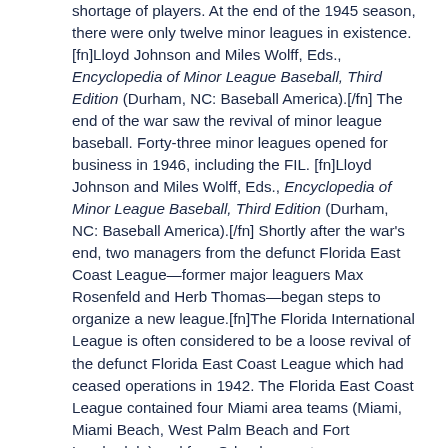shortage of players. At the end of the 1945 season, there were only twelve minor leagues in existence. [fn]Lloyd Johnson and Miles Wolff, Eds., Encyclopedia of Minor League Baseball, Third Edition (Durham, NC: Baseball America).[/fn] The end of the war saw the revival of minor league baseball. Forty-three minor leagues opened for business in 1946, including the FIL. [fn]Lloyd Johnson and Miles Wolff, Eds., Encyclopedia of Minor League Baseball, Third Edition (Durham, NC: Baseball America).[/fn] Shortly after the war's end, two managers from the defunct Florida East Coast League—former major leaguers Max Rosenfeld and Herb Thomas—began steps to organize a new league.[fn]The Florida International League is often considered to be a loose revival of the defunct Florida East Coast League which had ceased operations in 1942. The Florida East Coast League contained four Miami area teams (Miami, Miami Beach, West Palm Beach and Fort Lauderdale) and four Orlando area teams (Orlando, Deland, Fort Pierce, and Cocoa).[/fn] In addition, Cuban-born Merito Acosta, a former outfielder for the Washington Nationals and the Philadelphia Athletics, lobbied for a team from Havana to enter Organized Baseball. However, at this time Cuba was not under the